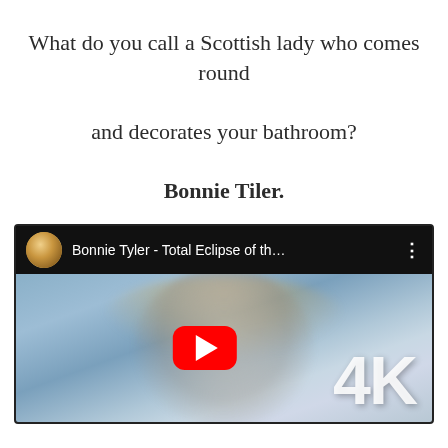What do you call a Scottish lady who comes round

and decorates your bathroom?

Bonnie Tiler.
[Figure (screenshot): YouTube video thumbnail for 'Bonnie Tyler - Total Eclipse of th...' showing a 4K badge and YouTube play button over a blurred image of Bonnie Tyler]